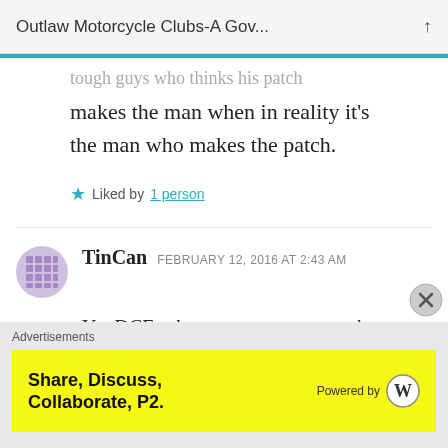Outlaw Motorcycle Clubs-A Gov...
tough guys who thinks his patch makes the man when in reality it's the man who makes the patch.
Liked by 1 person
TinCan  FEBRUARY 12, 2016 AT 2:43 AM
Yo, DCF, where you get your numbers.. there are over 400k bikes just in Texas,
Advertisements
Share, Discuss, Collaborate, P2.  Powered by